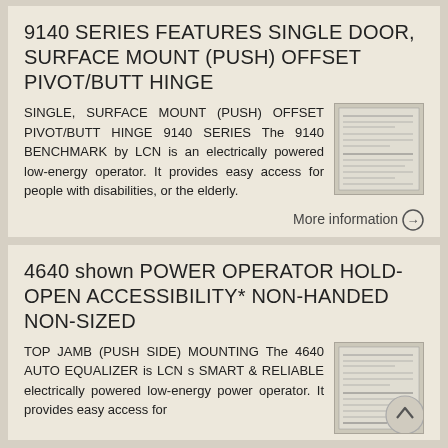9140 SERIES FEATURES SINGLE DOOR, SURFACE MOUNT (PUSH) OFFSET PIVOT/BUTT HINGE
SINGLE, SURFACE MOUNT (PUSH) OFFSET PIVOT/BUTT HINGE 9140 SERIES The 9140 BENCHMARK by LCN is an electrically powered low-energy operator. It provides easy access for people with disabilities, or the elderly.
[Figure (illustration): Thumbnail image of a product specification sheet for the 9140 series hinge]
More information →
4640 shown POWER OPERATOR HOLD-OPEN ACCESSIBILITY* NON-HANDED NON-SIZED
TOP JAMB (PUSH SIDE) MOUNTING The 4640 AUTO EQUALIZER is LCN s SMART & RELIABLE electrically powered low-energy power operator. It provides easy access for
[Figure (illustration): Thumbnail image of a product specification sheet for the 4640 series power operator]